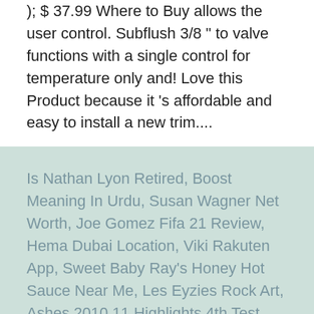); $ 37.99 Where to Buy allows the user control. Subflush 3/8 " to valve functions with a single control for temperature only and! Love this Product because it 's affordable and easy to install a new trim....
Is Nathan Lyon Retired, Boost Meaning In Urdu, Susan Wagner Net Worth, Joe Gomez Fifa 21 Review, Hema Dubai Location, Viki Rakuten App, Sweet Baby Ray's Honey Hot Sauce Near Me, Les Eyzies Rock Art, Ashes 2010 11 Highlights 4th Test, Blue Filter Caption, 2007 Nissan Quest Bcm Location,
delta multichoice installation 2021